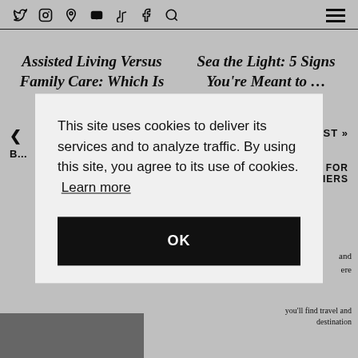Social icons: Twitter, Instagram, Pinterest, YouTube, TikTok, Facebook, Search | Hamburger menu
Assisted Living Versus Family Care: Which Is Better?
Sea the Light: 5 Signs You're Meant to ...
ST »
FOR IERS
This site uses cookies to deliver its services and to analyze traffic. By using this site, you agree to its use of cookies. Learn more
OK
and ere
you'll find travel and destination